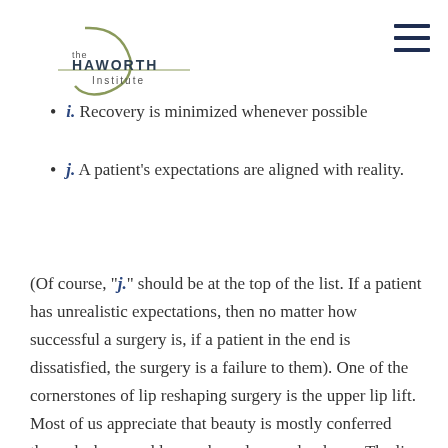the HAWORTH Institute
i. Recovery is minimized whenever possible
j. A patient's expectations are aligned with reality.
(Of course, "j." should be at the top of the list. If a patient has unrealistic expectations, then no matter how successful a surgery is, if a patient in the end is dissatisfied, the surgery is a failure to them). One of the cornerstones of lip reshaping surgery is the upper lip lift. Most of us appreciate that beauty is mostly conferred through shape and less so by colour and volume. The lips are no exception. An upper lip that is